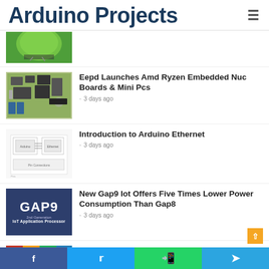Arduino Projects
[Figure (photo): Partial view of a green-colored device/balloon with wiring]
[Figure (photo): AMD Ryzen Embedded NUC board - green PCB with multiple chips and ports]
Eepd Launches Amd Ryzen Embedded Nuc Boards & Mini Pcs
3 days ago
[Figure (engineering-diagram): Arduino Ethernet shield technical diagram/schematic]
Introduction to Arduino Ethernet
3 days ago
[Figure (photo): GAP9 2nd Generation IoT Application Processor logo on dark blue background]
New Gap9 Iot Offers Five Times Lower Power Consumption Than Gap8
3 days ago
[Figure (photo): Arduino Duemilanove board diagram with color-coded sections]
Arduino Duemilanove for Beginners
f  t  [whatsapp icon]  [telegram icon]